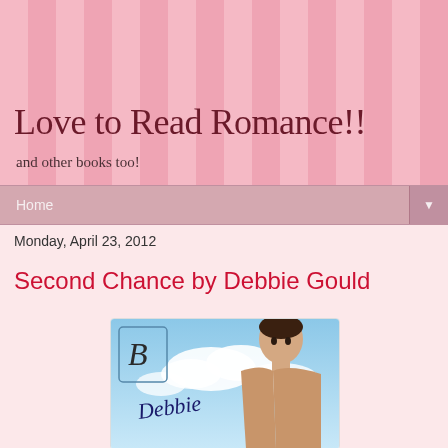Love to Read Romance!!
and other books too!
Home
Monday, April 23, 2012
Second Chance by Debbie Gould
[Figure (illustration): Book cover for 'Second Chance by Debbie Gould' showing a shirtless man against a blue sky with clouds, with a decorative B logo and cursive 'Debbie' text]